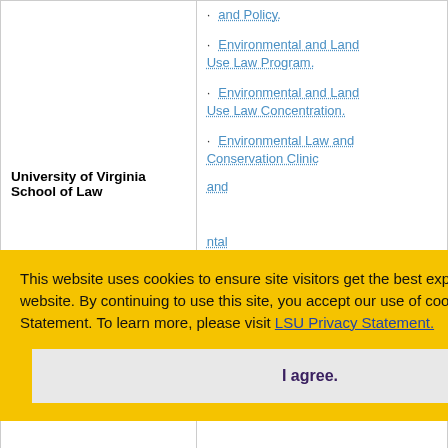· Environmental and Land Use Law Program.
· Environmental and Land Use Law Concentration.
· Environmental Law and Conservation Clinic
University of Virginia School of Law
This website uses cookies to ensure site visitors get the best experience on our website. By continuing to use this site, you accept our use of cookies and Privacy Statement. To learn more, please visit LSU Privacy Statement.
I agree.
Institute